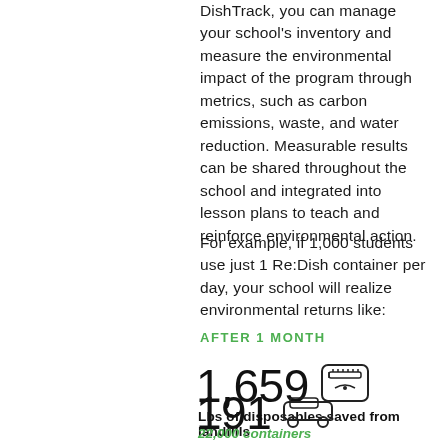DishTrack, you can manage your school's inventory and measure the environmental impact of the program through metrics, such as carbon emissions, waste, and water reduction. Measurable results can be shared throughout the school and integrated into lesson plans to teach and reinforce environmental action.
For example, if 1,000 students use just 1 Re:Dish container per day, your school will realize environmental returns like:
AFTER 1 MONTH
1,659
Lbs of disposables saved from landfills
22,000 containers
191